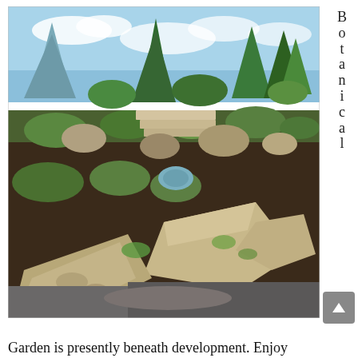[Figure (photo): Outdoor botanical garden scene with large natural boulders, rock formations, various green shrubs and conifer trees, steps visible in background, mulched garden beds, partially cloudy blue sky.]
Botanical
Garden is presently beneath development. Enjoy